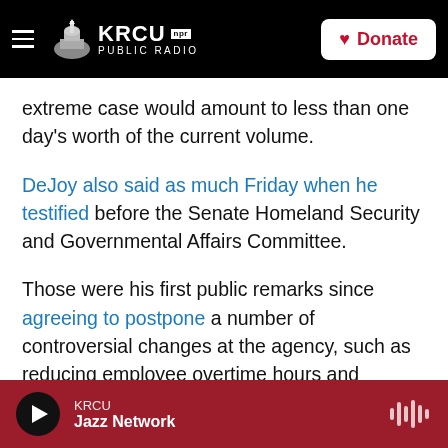KRCU NPR PUBLIC RADIO | Donate
extreme case would amount to less than one day's worth of the current volume.
DeJoy also said as much Friday when he testified before the Senate Homeland Security and Governmental Affairs Committee.
Those were his first public remarks since agreeing to postpone a number of controversial changes at the agency, such as reducing employee overtime hours and eliminating hundreds of postal-sorting machines.
KRCU Jazz Network